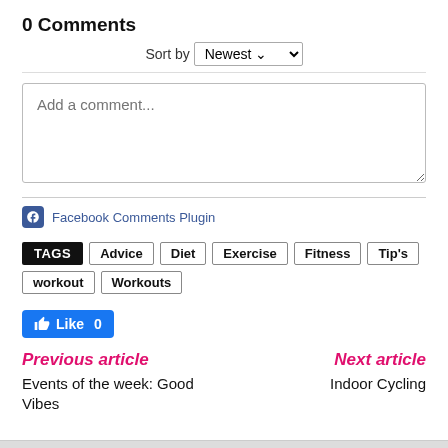0 Comments
Sort by Newest
[Figure (screenshot): Comment input text box with placeholder text 'Add a comment...']
Facebook Comments Plugin
TAGS  Advice  Diet  Exercise  Fitness  Tip's  workout  Workouts
[Figure (screenshot): Facebook Like button showing Like 0]
Previous article
Next article
Events of the week: Good Vibes
Indoor Cycling